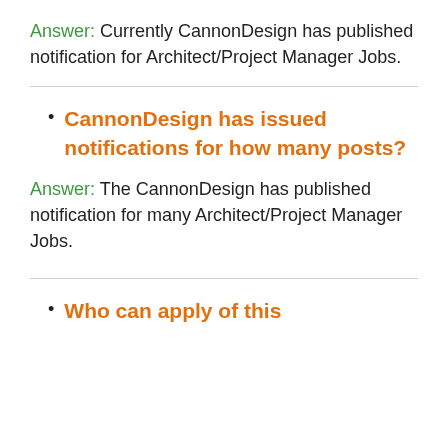Answer: Currently CannonDesign has published notification for Architect/Project Manager Jobs.
CannonDesign has issued notifications for how many posts?
Answer: The CannonDesign has published notification for many Architect/Project Manager Jobs.
Who can apply of this